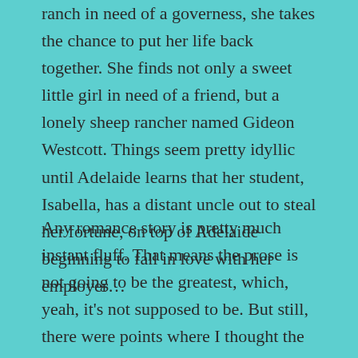ranch in need of a governess, she takes the chance to put her life back together. She finds not only a sweet little girl in need of a friend, but a lonely sheep rancher named Gideon Westcott. Things seem pretty idyllic until Adelaide learns that her student, Isabella, has a distant uncle out to steal her fortune, on top of Adelaide beginning to fall in love with her employer…
Any romance story is pretty much instant fluff. That means the prose is not going to be the greatest, which, yeah, it's not supposed to be. But still, there were points where I thought the prose could be tightened. I kept wondering why we had to go in roundabouts to get to the point of certain scenes. I'm not necessarily hating on this romance genre trope; my critical eye just gets especially turned on in noticing it. After all, fluffy prose